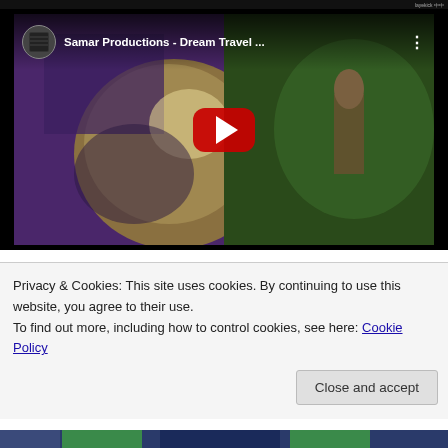[Figure (screenshot): YouTube video thumbnail for 'Samar Productions - Dream Travel ...' showing a pixelated/retro-style artwork of a baby face with purple and green colors, with a red YouTube play button in the center. Channel icon visible in top left corner.]
Privacy & Cookies: This site uses cookies. By continuing to use this website, you agree to their use.
To find out more, including how to control cookies, see here: Cookie Policy
Close and accept
[Figure (screenshot): Bottom strip showing partial view of another image with blue/dark background]